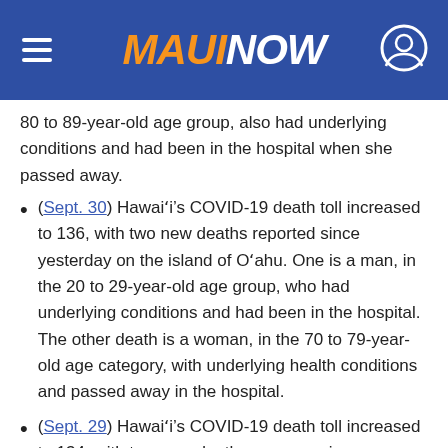MAUI NOW
80 to 89-year-old age group, also had underlying conditions and had been in the hospital when she passed away.
(Sept. 30) Hawaiʻi’s COVID-19 death toll increased to 136, with two new deaths reported since yesterday on the island of Oʻahu. One is a man, in the 20 to 29-year-old age group, who had underlying conditions and had been in the hospital. The other death is a woman, in the 70 to 79-year-old age category, with underlying health conditions and passed away in the hospital.
(Sept. 29) Hawaiʻi’s COVID-19 death toll increased to 134, with two new deaths reported since yesterday on the island of Oʻahu. One is a man, in the 70 to 79-year-old age group,